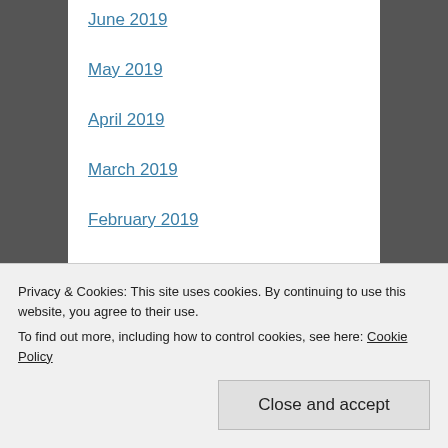June 2019
May 2019
April 2019
March 2019
February 2019
January 2019
December 2018
November 2018
October 2018
September 2018
August 2018
July 2018
Privacy & Cookies: This site uses cookies. By continuing to use this website, you agree to their use.
To find out more, including how to control cookies, see here: Cookie Policy
Close and accept